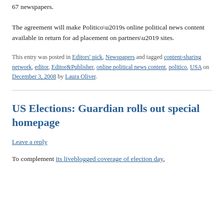67 newspapers.
The agreement will make Politico’s online political news content available in return for ad placement on partners’ sites.
This entry was posted in Editors' pick, Newspapers and tagged content-sharing network, editor, Editor&Publisher, online political news content, politico, USA on December 3, 2008 by Laura Oliver.
US Elections: Guardian rolls out special homepage
Leave a reply
To complement its liveblogged coverage of election day,